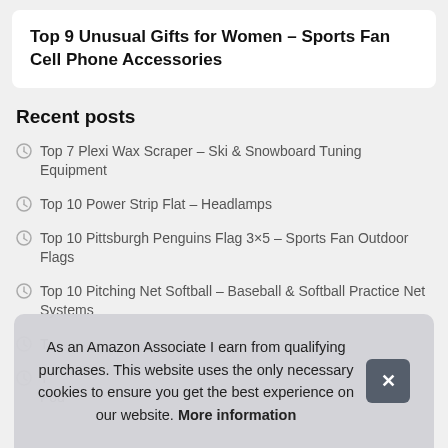Top 9 Unusual Gifts for Women – Sports Fan Cell Phone Accessories
Recent posts
Top 7 Plexi Wax Scraper – Ski & Snowboard Tuning Equipment
Top 10 Power Strip Flat – Headlamps
Top 10 Pittsburgh Penguins Flag 3×5 – Sports Fan Outdoor Flags
Top 10 Pitching Net Softball – Baseball & Softball Practice Net Systems
T…
T… Pou…
As an Amazon Associate I earn from qualifying purchases. This website uses the only necessary cookies to ensure you get the best experience on our website. More information